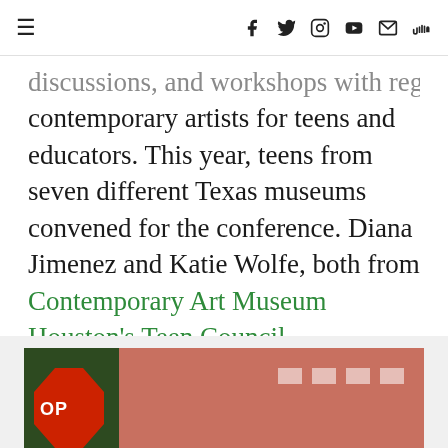≡  [navigation icons: facebook, twitter, instagram, youtube, email, soundcloud]
discussions, and workshops with regional contemporary artists for teens and educators. This year, teens from seven different Texas museums convened for the conference. Diana Jimenez and Katie Wolfe, both from Contemporary Art Museum Houston's Teen Council, documented their journey for us.
[Figure (photo): A photo showing a stop sign on the left against dark green foliage, and a terracotta/red-orange building facade with small rectangular windows on the right.]